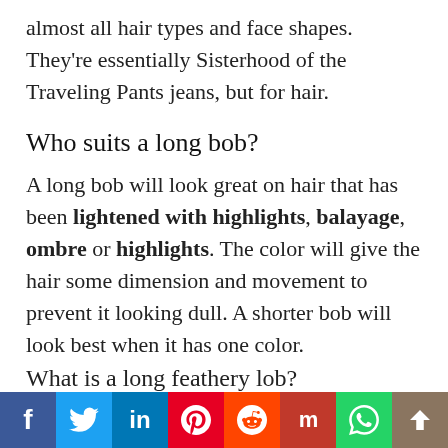almost all hair types and face shapes. They're essentially Sisterhood of the Traveling Pants jeans, but for hair.
Who suits a long bob?
A long bob will look great on hair that has been lightened with highlights, balayage, ombre or highlights. The color will give the hair some dimension and movement to prevent it looking dull. A shorter bob will look best when it has one color. What is a long feathery lob?
You can add texture to your lob with no drama by using heavy bangs. Instead, try long soft layers that
Social share bar: Facebook, Twitter, LinkedIn, Pinterest, Reddit, Mix, WhatsApp, Scroll up